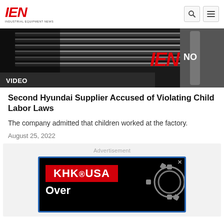IEN INDUSTRIAL EQUIPMENT NEWS
[Figure (photo): Close-up photo of a car grille/front end with chrome details, with IEN NOW watermark overlay and a dark banner reading VIDEO]
VIDEO
Second Hyundai Supplier Accused of Violating Child Labor Laws
The company admitted that children worked at the factory.
August 25, 2022
[Figure (screenshot): Advertisement banner for KHK USA showing logo in red box with gear imagery and text 'Over']